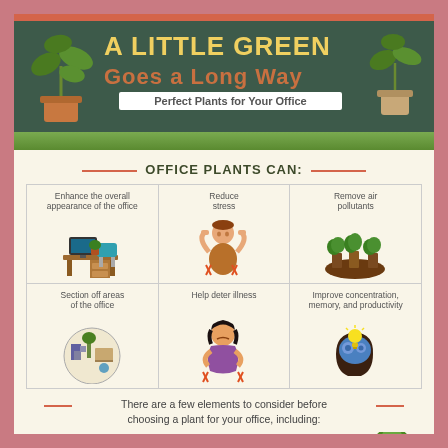A LITTLE GREEN
Goes a Long Way
Perfect Plants for Your Office
OFFICE PLANTS CAN:
[Figure (infographic): 6-cell grid showing office plant benefits: Enhance the overall appearance of the office (desk with plant), Reduce stress (stressed person), Remove air pollutants (plants on shelf), Section off areas of the office (office floor plan), Help deter illness (sick person), Improve concentration, memory, and productivity (brain with lightbulb)]
There are a few elements to consider before choosing a plant for your office, including:
LIGHT
In areas with low light, stay away from flowering plants